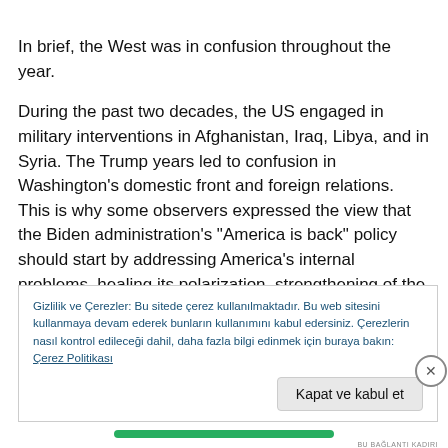In brief, the West was in confusion throughout the year.
During the past two decades, the US engaged in military interventions in Afghanistan, Iraq, Libya, and in Syria. The Trump years led to confusion in Washington’s domestic front and foreign relations. This is why some observers expressed the view that the Biden administration’s “America is back” policy should start by addressing America’s internal problems, healing its polarization, strengthening of the economy, and restoring America’s global image. Despite the assurances of President Biden
Gizlilik ve Çerezler: Bu sitede çerez kullanılmaktadır. Bu web sitesini kullanmaya devam ederek bunların kullanımını kabul edersiniz. Çerezlerin nasıl kontrol edileceği dahil, daha fazla bilgi edinmek için buraya bakın: Çerez Politikası
Kapat ve kabul et